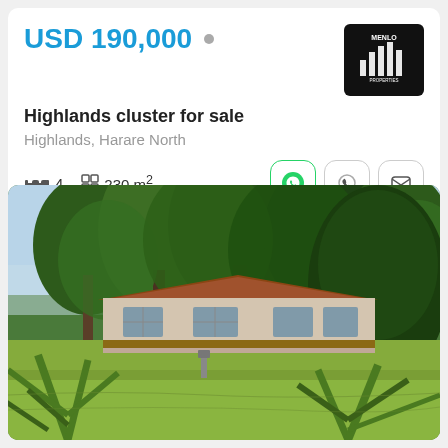USD 190,000
[Figure (logo): Menlo Properties logo - white text and bar chart icon on black background]
Highlands cluster for sale
Highlands, Harare North
4 bedrooms, 230 m²
[Figure (photo): Exterior photo of a house in Highlands with large trees in the garden, green lawn, and tropical plants in the foreground]